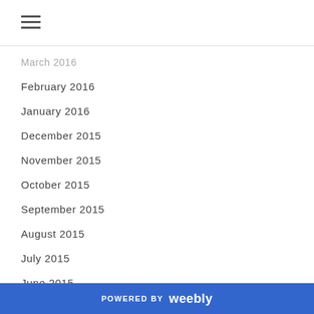March 2016
February 2016
January 2016
December 2015
November 2015
October 2015
September 2015
August 2015
July 2015
June 2015
May 2015
POWERED BY weebly